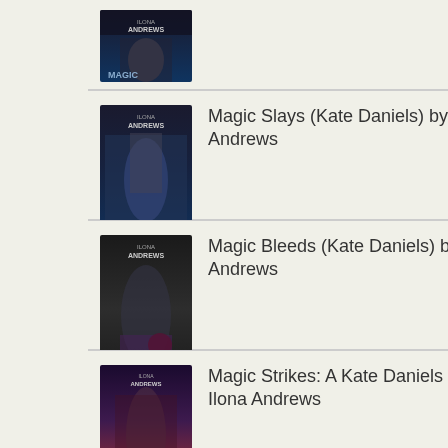[Figure (illustration): Partial book cover visible at top of page - dark fantasy book cover, partially cropped]
Magic Slays (Kate Daniels) by Ilona Andrews
Magic Bleeds (Kate Daniels) by Ilona Andrews
Magic Strikes: A Kate Daniels Novel: 3 by Ilona Andrews
Magic Burns: A Kate Daniels Novel: 2 by Ilona Andrews